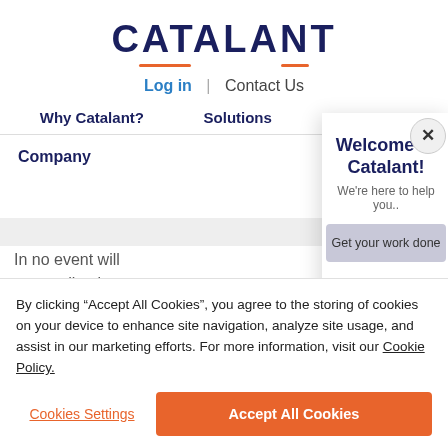[Figure (screenshot): Catalant website screenshot showing the Catalant logo at top, navigation links (Log in, Contact Us), nav menu items (Why Catalant?, Solutions, Resources), Company label, and partial page content with 'In no event will... proceeding by' text visible.]
Welcome to Catalant!
We're here to help you..
Get your work done
By clicking “Accept All Cookies”, you agree to the storing of cookies on your device to enhance site navigation, analyze site usage, and assist in our marketing efforts. For more information, visit our Cookie Policy.
Cookies Settings
Accept All Cookies